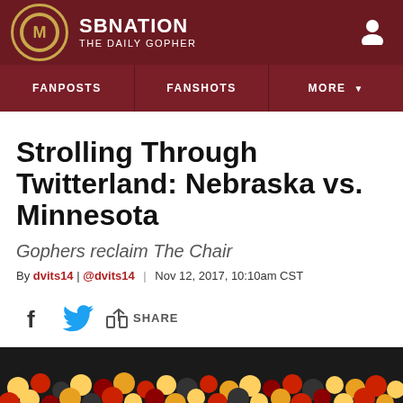SB NATION | THE DAILY GOPHER
FANPOSTS | FANSHOTS | MORE
Strolling Through Twitterland: Nebraska vs. Minnesota
Gophers reclaim The Chair
By dvits14 | @dvits14 | Nov 12, 2017, 10:10am CST
[Figure (photo): Crowd of fans at football game, bottom strip image]